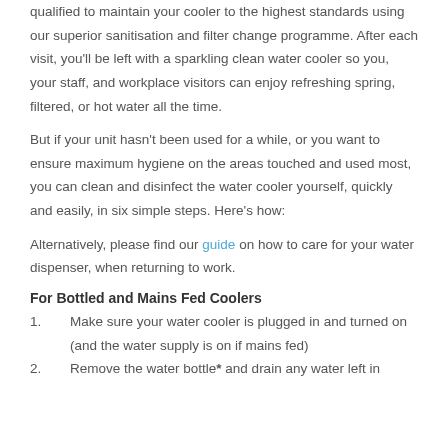qualified to maintain your cooler to the highest standards using our superior sanitisation and filter change programme. After each visit, you'll be left with a sparkling clean water cooler so you, your staff, and workplace visitors can enjoy refreshing spring, filtered, or hot water all the time.
But if your unit hasn't been used for a while, or you want to ensure maximum hygiene on the areas touched and used most, you can clean and disinfect the water cooler yourself, quickly and easily, in six simple steps. Here's how:
Alternatively, please find our guide on how to care for your water dispenser, when returning to work.
For Bottled and Mains Fed Coolers
Make sure your water cooler is plugged in and turned on (and the water supply is on if mains fed)
Remove the water bottle* and drain any water left in